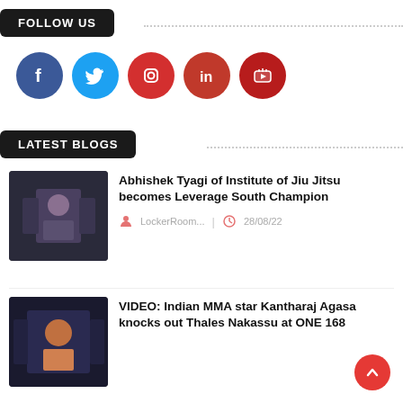FOLLOW US
[Figure (infographic): Five social media icon circles: Facebook (blue), Twitter (light blue), Instagram (red), LinkedIn (red), YouTube (dark red)]
LATEST BLOGS
[Figure (photo): MMA fighter raising arms in victory at weigh-in or event]
Abhishek Tyagi of Institute of Jiu Jitsu becomes Leverage South Champion
LockerRoom... | 28/08/22
[Figure (photo): Indian MMA fighter Kantharaj Agasa celebrating victory at ONE 168]
VIDEO: Indian MMA star Kantharaj Agasa knocks out Thales Nakassu at ONE 168